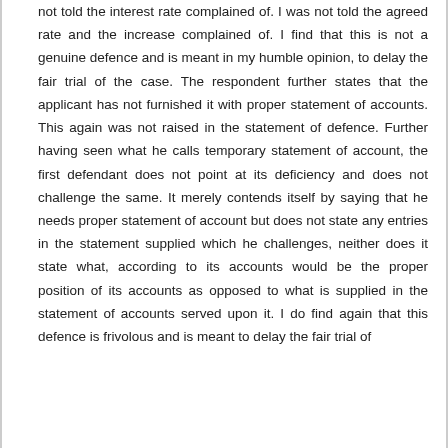not told the interest rate complained of. I was not told the agreed rate and the increase complained of. I find that this is not a genuine defence and is meant in my humble opinion, to delay the fair trial of the case. The respondent further states that the applicant has not furnished it with proper statement of accounts. This again was not raised in the statement of defence. Further having seen what he calls temporary statement of account, the first defendant does not point at its deficiency and does not challenge the same. It merely contends itself by saying that he needs proper statement of account but does not state any entries in the statement supplied which he challenges, neither does it state what, according to its accounts would be the proper position of its accounts as opposed to what is supplied in the statement of accounts served upon it. I do find again that this defence is frivolous and is meant to delay the fair trial of